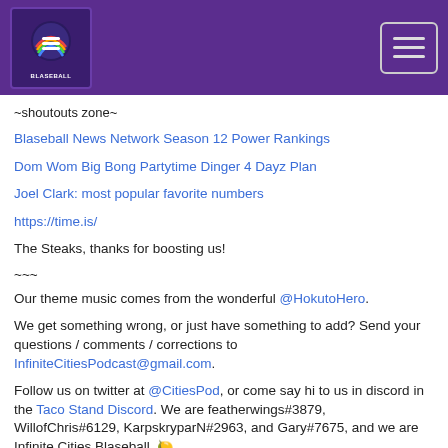Infinite Cities Blaseball
~shoutouts zone~
Blaseball News Network Season 12 Power Rankings
Dom Wom Big Bong Partytime Dinger 4 Dayz Plan
Joel Clark: most popular favorite numbers
https://time.is/
The Steaks, thanks for boosting us!
~~~
Our theme music comes from the wonderful @HokutoHero.
We get something wrong, or just have something to add? Send your questions / comments / corrections to InfiniteCitiesPodcast@gmail.com.
Follow us on twitter at @CitiesPod, or come say hi to us in discord in the Taco Stand Discord. We are featherwings#3879, WillofChris#6129, KarpskryparN#2963, and Gary#7675, and we are Infinite Cities Blaseball. 🍋